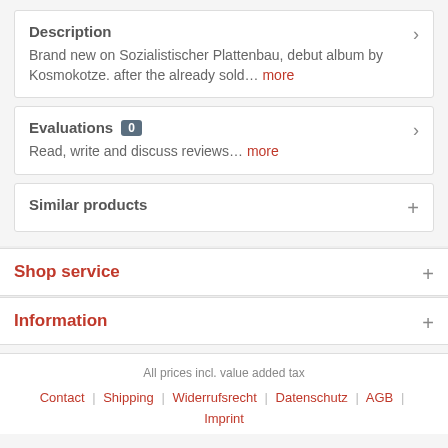Description
Brand new on Sozialistischer Plattenbau, debut album by Kosmokotze. after the already sold... more
Evaluations 0
Read, write and discuss reviews... more
Similar products
Shop service
Information
All prices incl. value added tax
Contact | Shipping | Widerrufsrecht | Datenschutz | AGB | Imprint